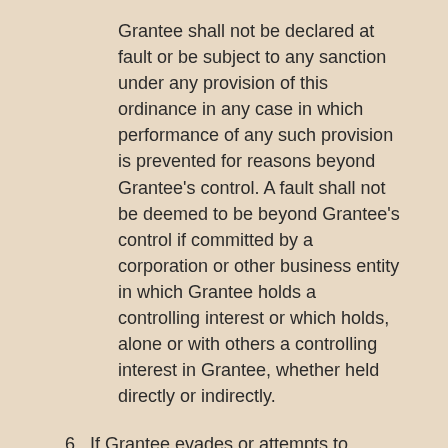Grantee shall not be declared at fault or be subject to any sanction under any provision of this ordinance in any case in which performance of any such provision is prevented for reasons beyond Grantee's control. A fault shall not be deemed to be beyond Grantee's control if committed by a corporation or other business entity in which Grantee holds a controlling interest or which holds, alone or with others a controlling interest in Grantee, whether held directly or indirectly.
6. If Grantee evades or attempts to evade any of the provisions of this Ordinance or the franchise award ordinance or practices any fraud or deceit upon the City.